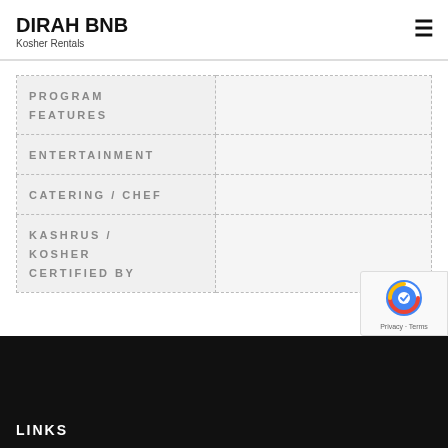DIRAH BNB
Kosher Rentals
| PROGRAM FEATURES |  |
| --- | --- |
| ENTERTAINMENT |  |
| CATERING / CHEF |  |
| KASHRUS / KOSHER CERTIFIED BY |  |
LINKS